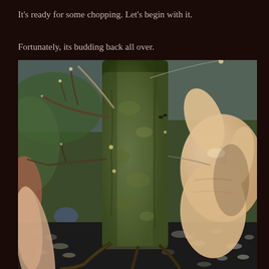It's ready for some chopping. Let's begin with it.
Fortunately, its budding back all over.
[Figure (photo): Close-up photograph of a bonsai tree trunk showing moss-covered bark with small buds sprouting along the trunk and branches. A person's fingers and hand are visible on the right side of the image, holding or examining the tree. The base of the tree shows exposed roots over gravel/pebble soil. Small twigs with tiny buds are visible on the left side.]